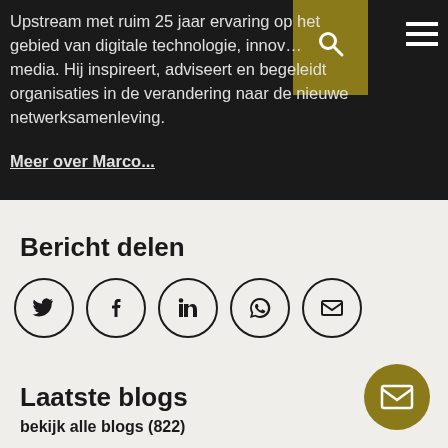Upstream met ruim 25 jaar ervaring op het gebied van digitale technologie, innovatie en media. Hij inspireert, adviseert en begeleidt organisaties in de verandering naar de nieuwe netwerksamenleving.
Meer over Marco...
Bericht delen
[Figure (infographic): Social share icons: Twitter, Facebook, LinkedIn, WhatsApp, Email — all in circular outlines]
Laatste blogs
bekijk alle blogs (822)